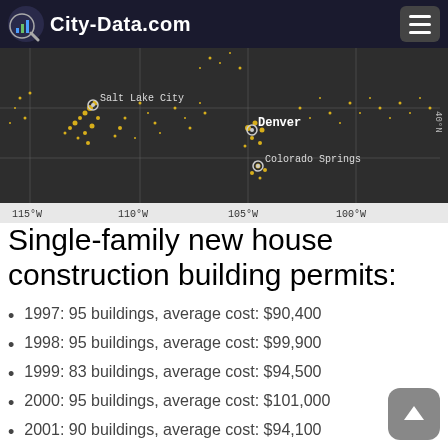City-Data.com
[Figure (map): Map of western United States showing cities Salt Lake City, Denver, Colorado Springs with latitude/longitude grid lines. Longitude markers: 115°W, 110°W, 105°W, 100°W. Latitude marker: 40°N. Yellow dots indicate population density or building permit data.]
Single-family new house construction building permits:
1997: 95 buildings, average cost: $90,400
1998: 95 buildings, average cost: $99,900
1999: 83 buildings, average cost: $94,500
2000: 95 buildings, average cost: $101,000
2001: 90 buildings, average cost: $94,100
2002: 106 buildings, average cost: $96,100
2003: 215 buildings, average cost: $69,100
2004: 184 buildings, average cost: $92,200
2005: 171 buildings, average cost: $103,900